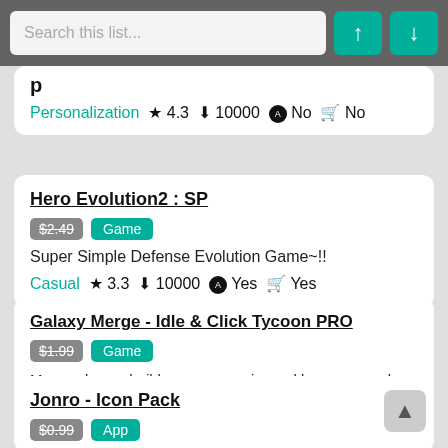Search this list...
Personalization ★ 4.3 ⬇ 10000 No No
Hero Evolution2 : SP | $2.49 | Game | Super Simple Defense Evolution Game~!! | Casual ★ 3.3 ⬇ 10000 Yes Yes
Galaxy Merge - Idle & Click Tycoon PRO | $1.99 | Game | Merge planes, build a space empire and become number one in the entire galaxy! | Simulation ★ 3.3 ⬇ 100000 Yes Yes
Jonro - Icon Pack | $0.99 | App